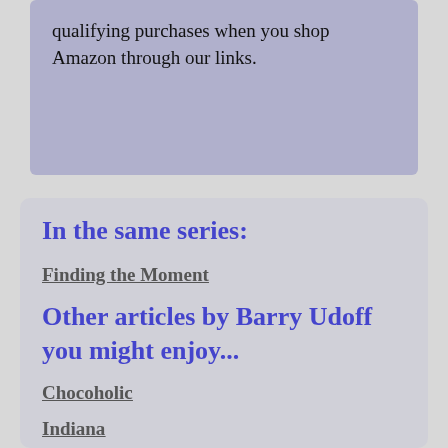qualifying purchases when you shop Amazon through our links.
In the same series:
Finding the Moment
Other articles by Barry Udoff you might enjoy...
Chocoholic
Indiana
Secrets of the Afterlife